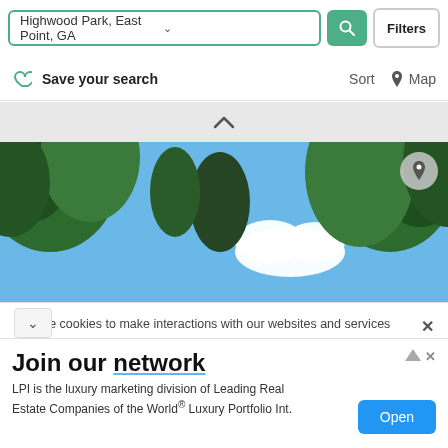Highwood Park, East Point, GA — Filters
Save your search   Sort   Map
[Figure (photo): Upward view of green trees against a blue sky with a white cloud]
We use cookies to make interactions with our websites and services easy and meaningful and to better understand how they are used. You can find out more about which cookies we are using and update your preferences in Cookies Settings. clicking “Accept All Cookies,” you are agreeing to our use
Join our network
LPI is the luxury marketing division of Leading Real Estate Companies of the World® Luxury Portfolio Int.
Open